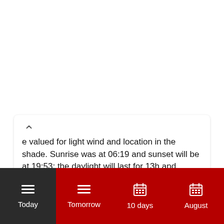e valued for light wind and location in the shade. Sunrise was at 06:19 and sunset will be at 19:53; the daylight will last for 13h and 34min.
Today | Tomorrow | 10 days | August